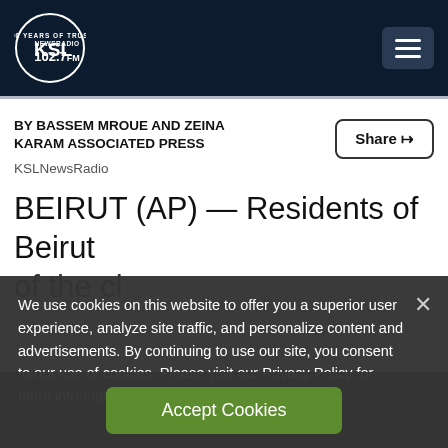KSL NewsRadio 102.7FM
BY BASSEM MROUE AND ZEINA KARAM ASSOCIATED PRESS
KSLNewsRadio
BEIRUT (AP) — Residents of Beirut
We use cookies on this website to offer you a superior user experience, analyze site traffic, and personalize content and advertisements. By continuing to use our site, you consent to our use of cookies. Please visit our Privacy Policy for more information.
Accept Cookies